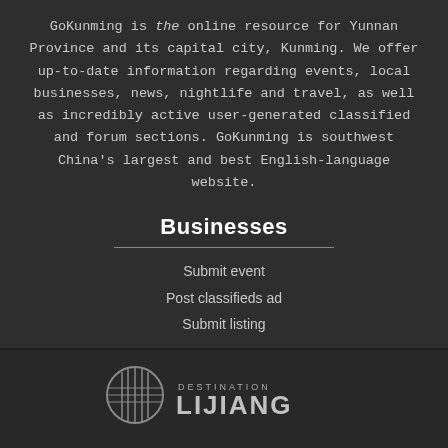GoKunming is the online resource for Yunnan Province and its capital city, Kunming. We offer up-to-date information regarding events, local businesses, news, nightlife and travel, as well as incredibly active user-generated classified and forum sections. GoKunming is southwest China's largest and best English-language website.
Businesses
Submit event
Post classifieds ad
Submit listing
[Figure (logo): Destination Lijiang logo with circular emblem and text]
[Figure (logo): GoKunming logo with www.gokunming.com URL]
[Figure (logo): Partial CloudBridge logo, cropped at bottom of page]